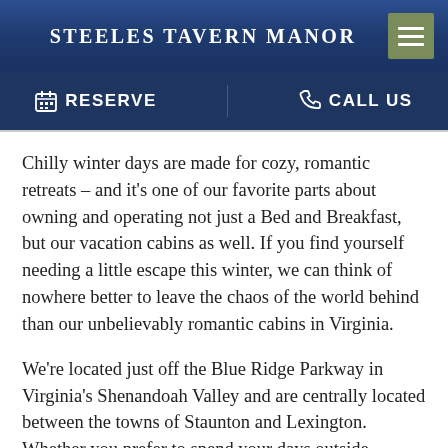STEELES TAVERN MANOR
RESERVE   CALL US
Chilly winter days are made for cozy, romantic retreats – and it's one of our favorite parts about owning and operating not just a Bed and Breakfast, but our vacation cabins as well.  If you find yourself needing a little escape this winter, we can think of nowhere better to leave the chaos of the world behind than our unbelievably romantic cabins in Virginia.
We're located just off the Blue Ridge Parkway in Virginia's Shenandoah Valley and are centrally located between the towns of Staunton and Lexington. Whether you prefer to spend your days outside exploring and having adventures